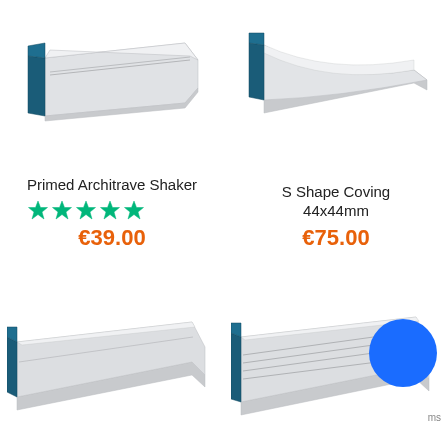[Figure (illustration): Primed Architrave Shaker moulding profile — elongated flat board with stepped grooves, dark teal cut end visible on left]
[Figure (illustration): S Shape Coving 44x44mm profile — angled coving piece with dark teal cut end visible on left]
Primed Architrave Shaker
[Figure (other): Five green star rating (Trustpilot style)]
€39.00
S Shape Coving 44x44mm
€75.00
[Figure (illustration): Coving profile bottom-left — angled moulding with teal cut end, partially visible]
[Figure (illustration): Coving profile bottom-right — detailed stepped moulding with teal cut end and blue circle overlay, partially cropped]